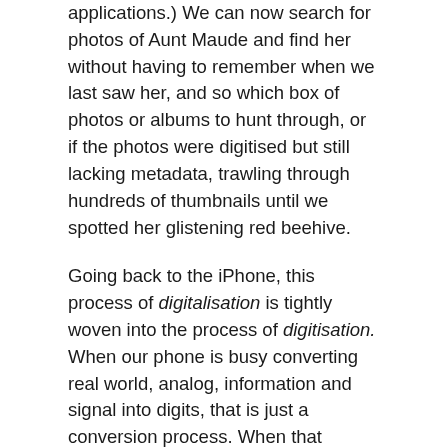applications.) We can now search for photos of Aunt Maude and find her without having to remember when we last saw her, and so which box of photos or albums to hunt through, or if the photos were digitised but still lacking metadata, trawling through hundreds of thumbnails until we spotted her glistening red beehive.
Going back to the iPhone, this process of digitalisation is tightly woven into the process of digitisation. When our phone is busy converting real world, analog, information and signal into digits, that is just a conversion process. When that process is finished (which of course it never is, but I'm referring to individual sessions of conversion) then the digitalisation — the digital dividend — kicks in. For the iPhone that is seamless and largely expected — after all that's the point of the device, a pocket full of real-world tools and applications — but the digitisation is still a process that has to happen. It's just so quick and seamless we don't realise that it's two processes: digitisation and